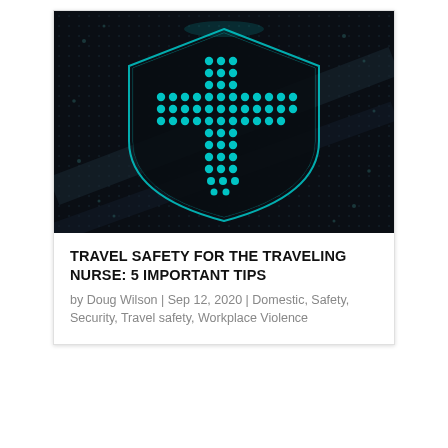[Figure (photo): Dark digital/cyber background with glowing teal shield icon made of dots in a cross/plus pattern, suggesting cybersecurity or medical safety protection]
TRAVEL SAFETY FOR THE TRAVELING NURSE: 5 IMPORTANT TIPS
by Doug Wilson | Sep 12, 2020 | Domestic, Safety, Security, Travel safety, Workplace Violence